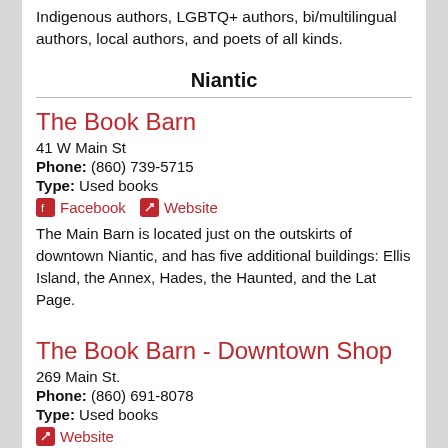Indigenous authors, LGBTQ+ authors, bi/multilingual authors, local authors, and poets of all kinds.
Niantic
The Book Barn
41 W Main St
Phone: (860) 739-5715
Type: Used books
Facebook  Website
The Main Barn is located just on the outskirts of downtown Niantic, and has five additional buildings: Ellis Island, the Annex, Hades, the Haunted, and the Lat Page.
The Book Barn - Downtown Shop
269 Main St.
Phone: (860) 691-8078
Type: Used books
Website